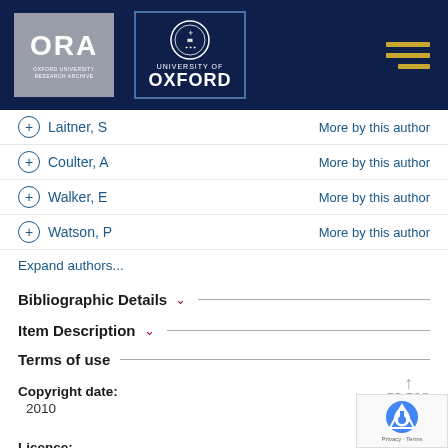[Figure (logo): ORA Oxford University Research Archive logo and University of Oxford logo on dark navy header bar]
+ Laitner, S  More by this author
+ Coulter, A  More by this author
+ Walker, E  More by this author
+ Watson, P  More by this author
Expand authors...
Bibliographic Details
Item Description
Terms of use
Copyright date:
2010
Licence:
Terms and Conditions of Use for Oxford University Research